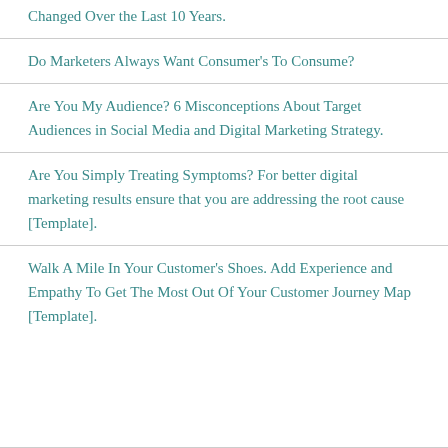Changed Over the Last 10 Years.
Do Marketers Always Want Consumer's To Consume?
Are You My Audience? 6 Misconceptions About Target Audiences in Social Media and Digital Marketing Strategy.
Are You Simply Treating Symptoms? For better digital marketing results ensure that you are addressing the root cause [Template].
Walk A Mile In Your Customer's Shoes. Add Experience and Empathy To Get The Most Out Of Your Customer Journey Map [Template].